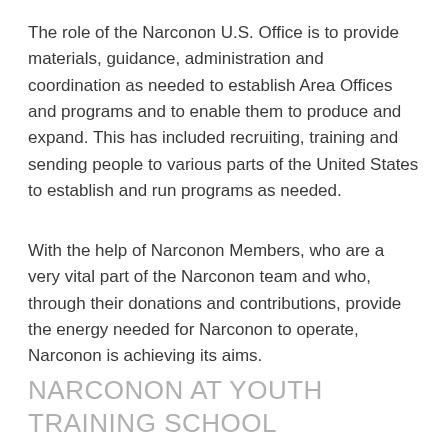The role of the Narconon U.S. Office is to provide materials, guidance, administration and coordination as needed to establish Area Offices and programs and to enable them to produce and expand. This has included recruiting, training and sending people to various parts of the United States to establish and run programs as needed.
With the help of Narconon Members, who are a very vital part of the Narconon team and who, through their donations and contributions, provide the energy needed for Narconon to operate, Narconon is achieving its aims.
NARCONON AT YOUTH TRAINING SCHOOL